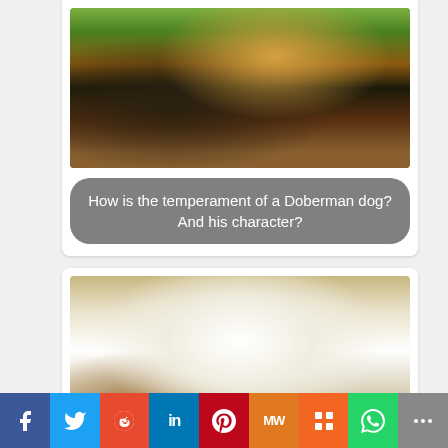[Figure (photo): A Doberman dog photographed outdoors, appearing to howl or bark, with a house and greenery visible in the background. The dog has a black and tan coat.]
How is the temperament of a Doberman dog? And his character?
[Figure (photo): A white fluffy dog lying with its head resting on the floor, appearing relaxed or sleepy, photographed indoors on a smooth grey surface.]
My dog sleeps a lot Is it normal or is it sick?
f  Twitter  reddit  in  P  MW  m  WhatsApp  <